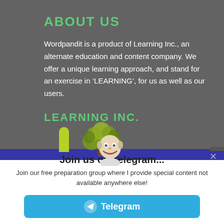ABOUT US
Wordpandit is a product of Learning Inc., an alternate education and content company. We offer a unique learning approach, and stand for an exercise in ‘LEARNING’, for us as well as our users.
LEARNING INC.
[Figure (illustration): Learning Inc. logo illustration with a green pillar and a tree graphic]
[Figure (illustration): Smiling bald cartoon mascot figure]
Join us on Telegram...
Join our free preparation group where I provide special content not available anywhere else!
Telegram